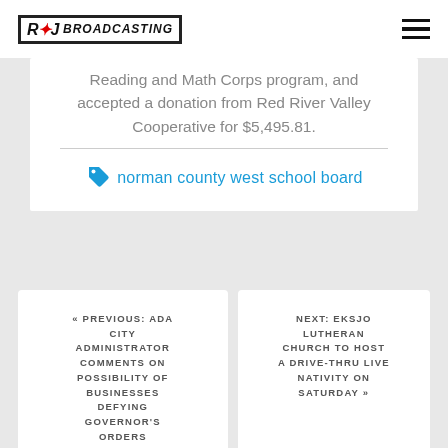R&J Broadcasting
Reading and Math Corps program, and accepted a donation from Red River Valley Cooperative for $5,495.81.
norman county west school board
« PREVIOUS: ADA CITY ADMINISTRATOR COMMENTS ON POSSIBILITY OF BUSINESSES DEFYING GOVERNOR'S ORDERS
NEXT: EKSJO LUTHERAN CHURCH TO HOST A DRIVE-THRU LIVE NATIVITY ON SATURDAY »